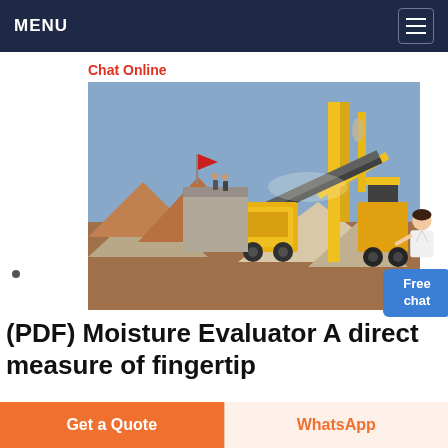MENU
Chat Online
[Figure (photo): Outdoor quarry/mining operation with yellow industrial crushing and conveyor equipment, large piles of gravel and earth, workers visible, clear blue sky.]
(PDF) Moisture Evaluator A direct measure of fingertip
Skin moisture levels during object manipulation were